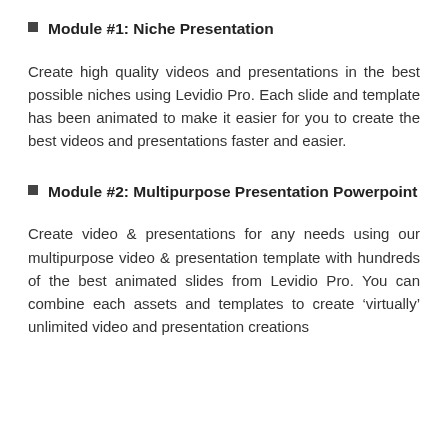Module #1: Niche Presentation
Create high quality videos and presentations in the best possible niches using Levidio Pro. Each slide and template has been animated to make it easier for you to create the best videos and presentations faster and easier.
Module #2: Multipurpose Presentation Powerpoint
Create video & presentations for any needs using our multipurpose video & presentation template with hundreds of the best animated slides from Levidio Pro. You can combine each assets and templates to create 'virtually' unlimited video and presentation creations